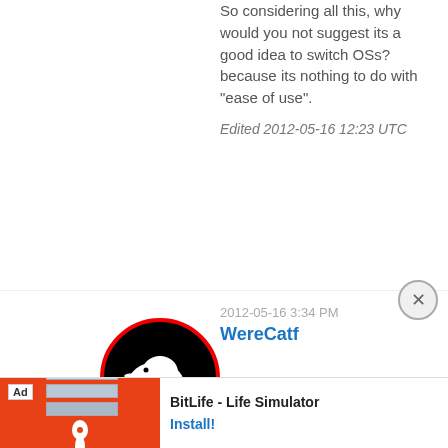So considering all this, why would you not suggest its a good idea to switch OSs? because its nothing to do with "ease of use".
Edited 2012-05-16 12:23 UTC
[Figure (illustration): User avatar: white kiwi bird silhouette on black circle with red border]
2012-05-16 3:34 PM WereCatf
I don't understand your point here? You are suggesting that the command line is still needed
[Figure (screenshot): BitLife - Life Simulator advertisement banner at the bottom of the page]